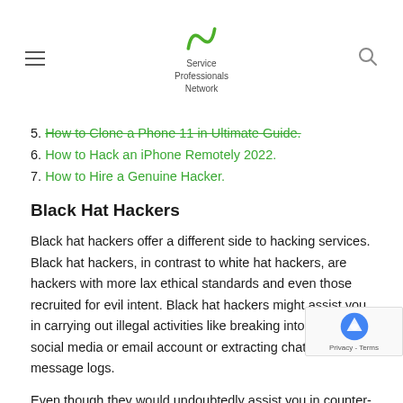Service Professionals Network
5. How to Clone a Phone 11 in Ultimate Guide. (strikethrough)
6. How to Hack an iPhone Remotely 2022.
7. How to Hire a Genuine Hacker.
Black Hat Hackers
Black hat hackers offer a different side to hacking services. Black hat hackers, in contrast to white hat hackers, are hackers with more lax ethical standards and even those recruited for evil intent. Black hat hackers might assist you in carrying out illegal activities like breaking into a friend's social media or email account or extracting chat and message logs.
Even though they would undoubtedly assist you in counter-hacking, they might indulge your craziest wish to hack a social media that is not your own. Their operations are frequently clandestine can be found on the dark web or darknet. They are skilled hackers who are not constrained by moral principles and face no difficulties